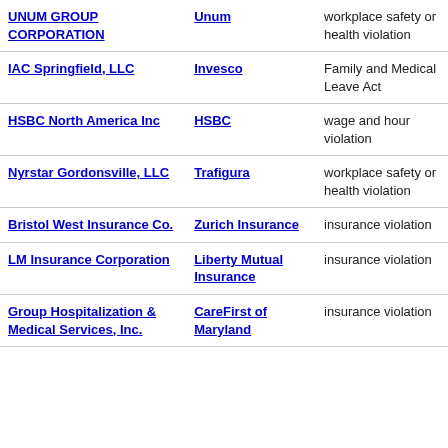| Company | Brand | Violation Type |
| --- | --- | --- |
| UNUM GROUP CORPORATION | Unum | workplace safety or health violation |
| IAC Springfield, LLC | Invesco | Family and Medical Leave Act |
| HSBC North America Inc | HSBC | wage and hour violation |
| Nyrstar Gordonsville, LLC | Trafigura | workplace safety or health violation |
| Bristol West Insurance Co. | Zurich Insurance | insurance violation |
| LM Insurance Corporation | Liberty Mutual Insurance | insurance violation |
| Group Hospitalization & Medical Services, Inc. | CareFirst of Maryland | insurance violation |